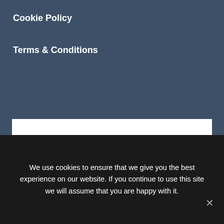Cookie Policy
Terms & Conditions
[Figure (logo): Life Body Soul Spirit logo in purple cursive script on white background]
We use cookies to ensure that we give you the best experience on our website. If you continue to use this site we will assume that you are happy with it.